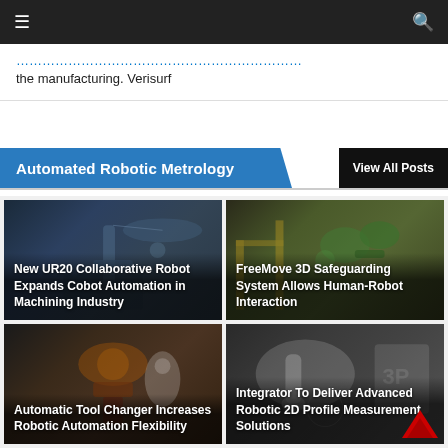Navigation bar with hamburger menu and search icon
the manufacturing. Verisurf
Automated Robotic Metrology
View All Posts
[Figure (photo): Collaborative robot arm in machining environment, dark industrial background]
New UR20 Collaborative Robot Expands Cobot Automation in Machining Industry
[Figure (photo): FreeMove 3D safeguarding system with green robotic components on yellow frame]
FreeMove 3D Safeguarding System Allows Human-Robot Interaction
[Figure (photo): Automatic tool changer with orange/black mechanical components on robotic arm]
Automatic Tool Changer Increases Robotic Automation Flexibility
[Figure (photo): White robotic arm performing 2D profile measurement with 3P logo visible]
Integrator To Deliver Advanced Robotic 2D Profile Measurement Solutions